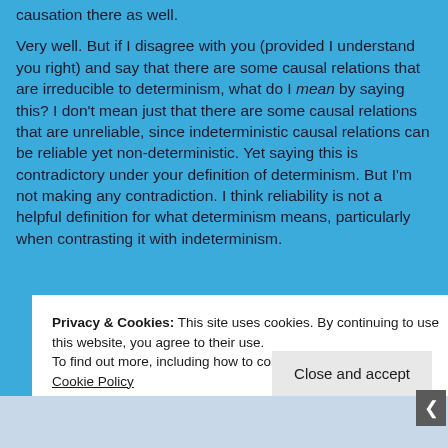causation there as well.

Very well. But if I disagree with you (provided I understand you right) and say that there are some causal relations that are irreducible to determinism, what do I mean by saying this? I don't mean just that there are some causal relations that are unreliable, since indeterministic causal relations can be reliable yet non-deterministic. Yet saying this is contradictory under your definition of determinism. But I'm not making any contradiction. I think reliability is not a helpful definition for what determinism means, particularly when contrasting it with indeterminism.
Privacy & Cookies: This site uses cookies. By continuing to use this website, you agree to their use.
To find out more, including how to control cookies, see here: Cookie Policy
Close and accept